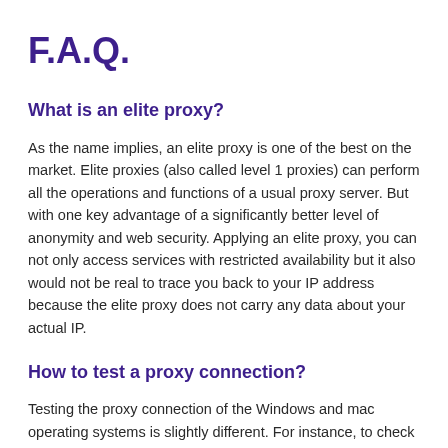F.A.Q.
What is an elite proxy?
As the name implies, an elite proxy is one of the best on the market. Elite proxies (also called level 1 proxies) can perform all the operations and functions of a usual proxy server. But with one key advantage of a significantly better level of anonymity and web security. Applying an elite proxy, you can not only access services with restricted availability but it also would not be real to trace you back to your IP address because the elite proxy does not carry any data about your actual IP.
How to test a proxy connection?
Testing the proxy connection of the Windows and mac operating systems is slightly different. For instance, to check the proxy operation in the Windows system, go to settings and select the "local network" option. Following Windows instructions, you may test the proxy. If your